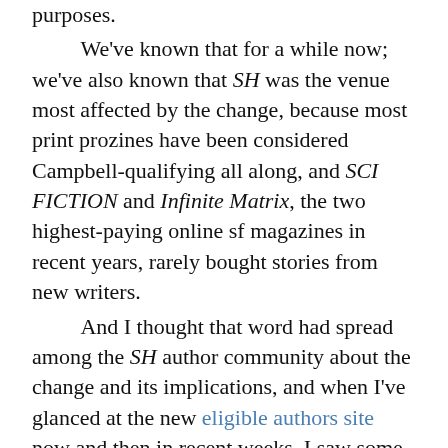purposes.

    We've known that for a while now; we've also known that SH was the venue most affected by the change, because most print prozines have been considered Campbell-qualifying all along, and SCI FICTION and Infinite Matrix, the two highest-paying online sf magazines in recent years, rarely bought stories from new writers.

    And I thought that word had spread among the SH author community about the change and its implications, and when I've glanced at the new eligible authors site now and then in recent weeks, I saw some SH authors so I figured everything was copacetic.

    Yesterday, though, I finally went and compared the list of eligible authors with the list of authors whose first pro sale was to SH in 2004 or 2005, and discovered that at least 26 such authors didn't appear on the